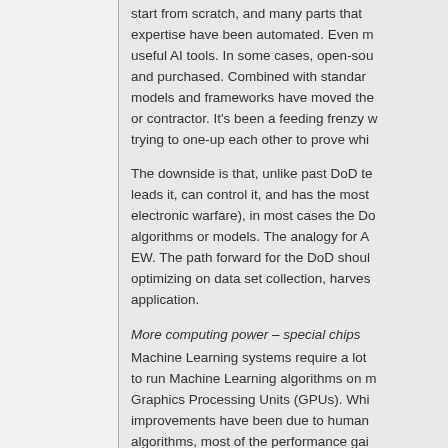start from scratch, and many parts that required deep expertise have been automated. Even more useful AI tools. In some cases, open-sou and purchased. Combined with standar models and frameworks have moved the or contractor. It's been a feeding frenzy trying to one-up each other to prove whi
The downside is that, unlike past DoD te leads it, can control it, and has the most electronic warfare), in most cases the Do algorithms or models. The analogy for A EW. The path forward for the DoD shou optimizing on data set collection, harves application.
More computing power – special chips
Machine Learning systems require a lot to run Machine Learning algorithms on m Graphics Processing Units (GPUs). Whi improvements have been due to human algorithms, most of the performance gai compute performance. (See the semico
More computing power – AI In the Clou
The rapid growth in the size of machine the move to large data center clusters...